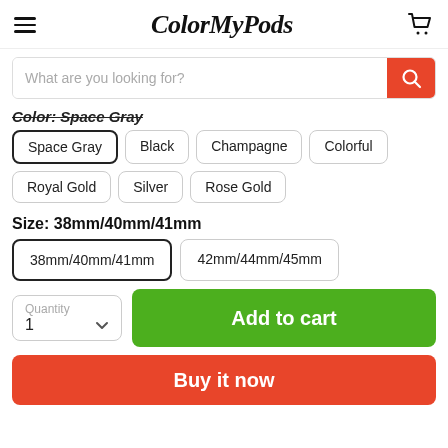ColorMyPods
What are you looking for?
Color: Space Gray
Space Gray
Black
Champagne
Colorful
Royal Gold
Silver
Rose Gold
Size: 38mm/40mm/41mm
38mm/40mm/41mm
42mm/44mm/45mm
Quantity 1
Add to cart
Buy it now